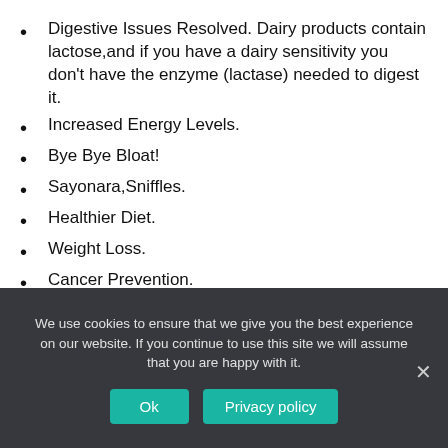Digestive Issues Resolved. Dairy products contain lactose,and if you have a dairy sensitivity you don't have the enzyme (lactase) needed to digest it.
Increased Energy Levels.
Bye Bye Bloat!
Sayonara,Sniffles.
Healthier Diet.
Weight Loss.
Cancer Prevention.
Prevent Heart Disease.
What are health benefits of going dairy-free?
We use cookies to ensure that we give you the best experience on our website. If you continue to use this site we will assume that you are happy with it.